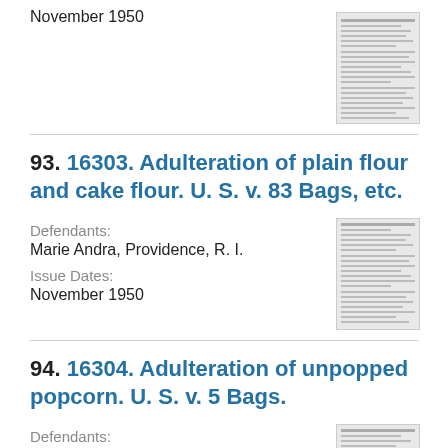November 1950
[Figure (screenshot): Thumbnail image of a legal document page]
93. 16303. Adulteration of plain flour and cake flour. U. S. v. 83 Bags, etc.
Defendants:
Marie Andra, Providence, R. I.
Issue Dates:
November 1950
[Figure (screenshot): Thumbnail image of a legal document page for case 16303]
94. 16304. Adulteration of unpopped popcorn. U. S. v. 5 Bags.
Defendants:
[Figure (screenshot): Thumbnail image of a legal document page for case 16304]